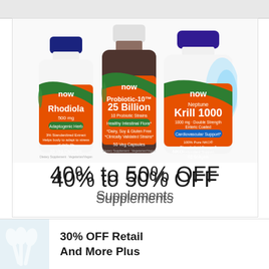[Figure (photo): Three NOW brand supplement bottles side by side: Rhodiola 500mg (white bottle with orange label, 60 Veg Capsules), Probiotic-10 25 Billion (dark brown bottle with orange label, 50 Veg Capsules), and Neptune Krill 1000 (white bottle with orange label, 60 Softgels). All bottles show the NOW logo in white on orange background.]
40% to 50% OFF
Supplements
[Figure (photo): Partial image of white spoons or measuring utensils on white background, bottom left corner.]
30% OFF Retail And More Plus